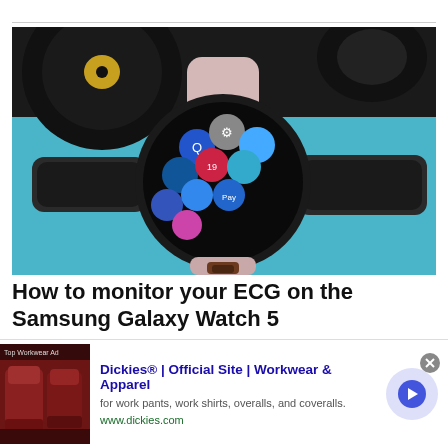[Figure (photo): Samsung Galaxy Watch 5 in pink/mauve color displayed on a stand showing app icons on its circular screen, with a vinyl record player in the background on a teal/aqua surface]
How to monitor your ECG on the Samsung Galaxy Watch 5
Much like the Galaxy Watch models that came before it, the Galaxy Watch 5 and Watch 5 Pro are capable of monitoring
[Figure (screenshot): Advertisement for Dickies Official Site - Workwear & Apparel. Shows a photo of red/brown leather chairs, text 'Dickies® | Official Site | Workwear & Apparel', subtext 'for work pants, work shirts, overalls, and coveralls.', URL 'www.dickies.com', and a blue arrow button on a lavender background.]